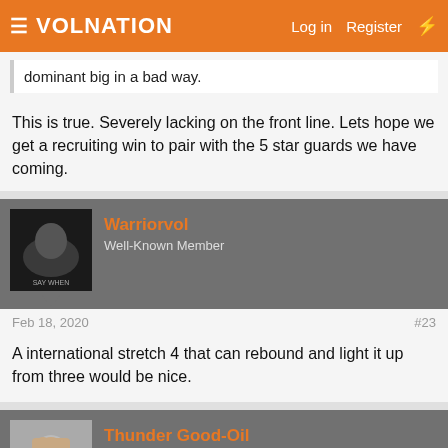VolNation — Log in  Register
dominant big in a bad way.
This is true. Severely lacking on the front line. Lets hope we get a recruiting win to pair with the 5 star guards we have coming.
Warriorvol
Well-Known Member
Feb 18, 2020
#23
A international stretch 4 that can rebound and light it up from three would be nice.
Thunder Good-Oil
It could be made into a monster
Feb 18, 2020
#24